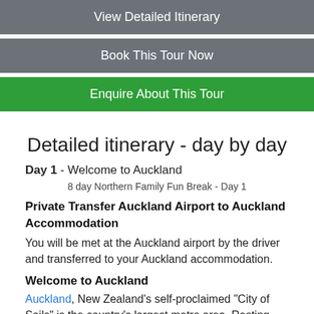View Detailed Itinerary
Book This Tour Now
Enquire About This Tour
Detailed itinerary - day by day
Day 1 - Welcome to Auckland
[Figure (photo): Broken image placeholder: 8 day Northern Family Fun Break - Day 1]
Private Transfer Auckland Airport to Auckland Accommodation
You will be met at the Auckland airport by the driver and transferred to your Auckland accommodation.
Welcome to Auckland
Auckland, New Zealand's self-proclaimed "City of Sails" is the country's largest metro area. Resting between the Pacific Ocean and the Tasman Sea, this urban paradise has something for